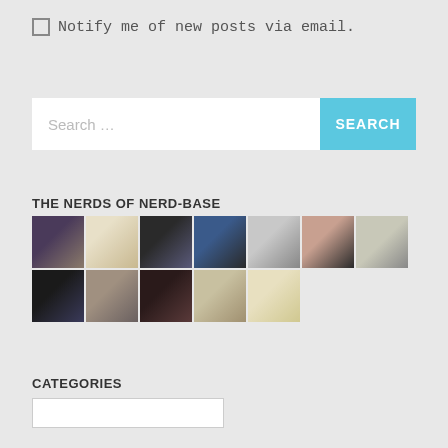Notify me of new posts via email.
[Figure (other): Search bar with text input field showing placeholder 'Search ...' and a cyan 'SEARCH' button]
THE NERDS OF NERD-BASE
[Figure (photo): Grid of 12 avatar/profile photos of various people arranged in 2 rows of 7 and 5 thumbnails]
CATEGORIES
[Figure (other): Dropdown/select box for categories]